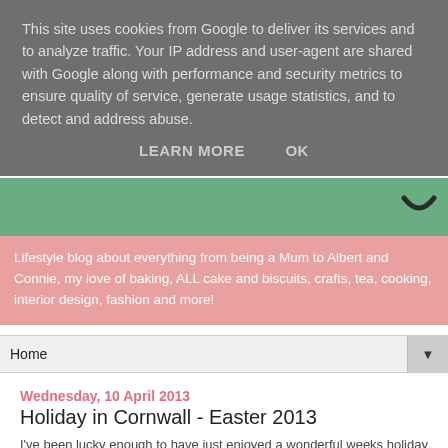This site uses cookies from Google to deliver its services and to analyze traffic. Your IP address and user-agent are shared with Google along with performance and security metrics to ensure quality of service, generate usage statistics, and to detect and address abuse.
LEARN MORE    OK
[Figure (photo): Green header image area with a dark curved arrow/chevron shape on the right side]
Lifestyle blog about everything from being a Mum to Albert and Connie, my love of baking, ALL cake and biscuits, crafts, tea, cooking, interior design, fashion and more!
Home ▼
Wednesday, 10 April 2013
Holiday in Cornwall - Easter 2013
I've been lucky enough to have just enjoyed a wonderful weeks holiday in Cornwall...